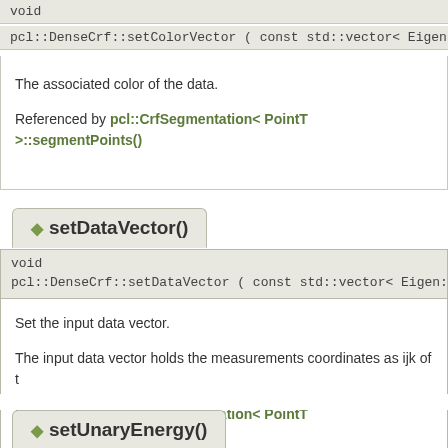void
pcl::DenseCrf::setColorVector ( const std::vector< Eigen::Vector3i, Ei
The associated color of the data.
Referenced by pcl::CrfSegmentation< PointT >::segmentPoints()
setDataVector()
void
pcl::DenseCrf::setDataVector ( const std::vector< Eigen::Vector3i, Eig
Set the input data vector.
The input data vector holds the measurements coordinates as ijk of t
Referenced by pcl::CrfSegmentation< PointT >::segmentPoints()
setUnaryEnergy()